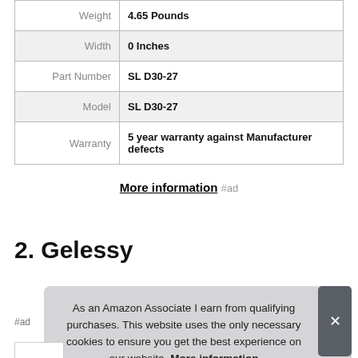| Attribute | Value |
| --- | --- |
| Weight | 4.65 Pounds |
| Width | 0 Inches |
| Part Number | SL D30-27 |
| Model | SL D30-27 |
| Warranty | 5 year warranty against Manufacturer defects |
More information #ad
2. Gelessy
As an Amazon Associate I earn from qualifying purchases. This website uses the only necessary cookies to ensure you get the best experience on our website. More information